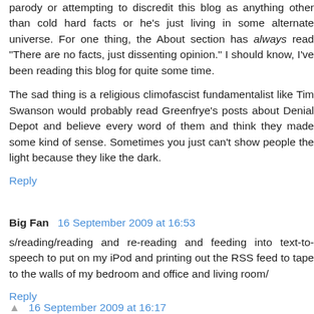parody or attempting to discredit this blog as anything other than cold hard facts or he's just living in some alternate universe. For one thing, the About section has always read "There are no facts, just dissenting opinion." I should know, I've been reading this blog for quite some time.
The sad thing is a religious climofascist fundamentalist like Tim Swanson would probably read Greenfrye's posts about Denial Depot and believe every word of them and think they made some kind of sense. Sometimes you just can't show people the light because they like the dark.
Reply
Big Fan  16 September 2009 at 16:53
s/reading/reading and re-reading and feeding into text-to-speech to put on my iPod and printing out the RSS feed to tape to the walls of my bedroom and office and living room/
Reply
16 September 2009 at 16:17